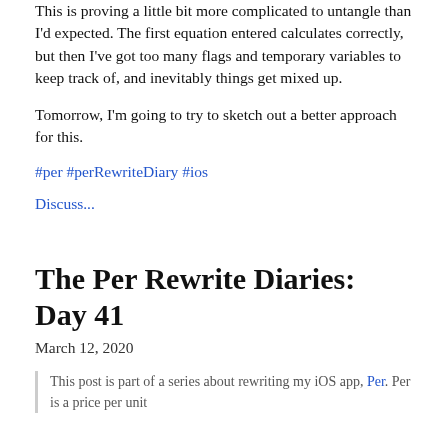This is proving a little bit more complicated to untangle than I'd expected. The first equation entered calculates correctly, but then I've got too many flags and temporary variables to keep track of, and inevitably things get mixed up.
Tomorrow, I'm going to try to sketch out a better approach for this.
#per #perRewriteDiary #ios
Discuss...
The Per Rewrite Diaries: Day 41
March 12, 2020
This post is part of a series about rewriting my iOS app, Per. Per is a price per unit